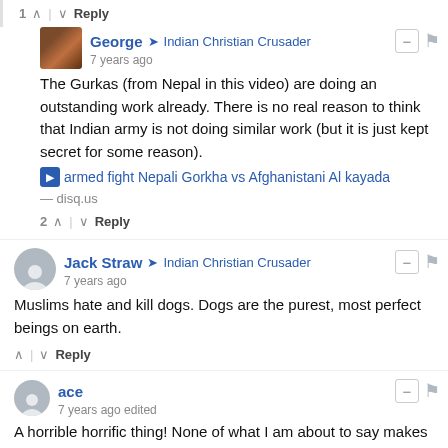1 ^ | v Reply
George → Indian Christian Crusader
7 years ago
The Gurkas (from Nepal in this video) are doing an outstanding work already. There is no real reason to think that Indian army is not doing similar work (but it is just kept secret for some reason).
▶ armed fight Nepali Gorkha vs Afghanistani Al kayada — disq.us
2 ^ | v Reply
Jack Straw → Indian Christian Crusader
7 years ago
Muslims hate and kill dogs. Dogs are the purest, most perfect beings on earth.
^ | v Reply
ace
7 years ago edited
A horrible horrific thing! None of what I am about to say makes any of this right, but everyone in the area,